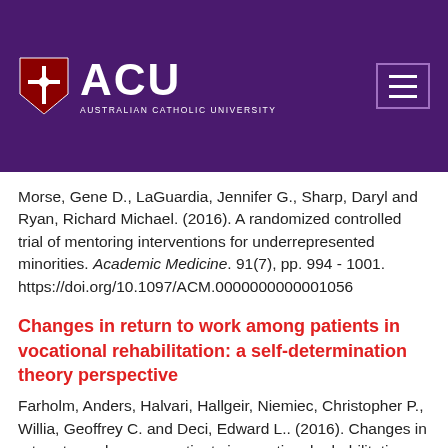[Figure (logo): Australian Catholic University (ACU) logo with shield and white text on purple header background]
Morse, Gene D., LaGuardia, Jennifer G., Sharp, Daryl and Ryan, Richard Michael. (2016). A randomized controlled trial of mentoring interventions for underrepresented minorities. Academic Medicine. 91(7), pp. 994 - 1001. https://doi.org/10.1097/ACM.0000000000001056
Changes in return to work among patients in vocational rehabilitation: a self-determination theory perspective
Farholm, Anders, Halvari, Hallgeir, Niemiec, Christopher P., Willia, Geoffrey C. and Deci, Edward L.. (2016). Changes in return to work among patients in vocational rehabilitation: a self-determination theory perspective. Disability and Rehabilitation. http